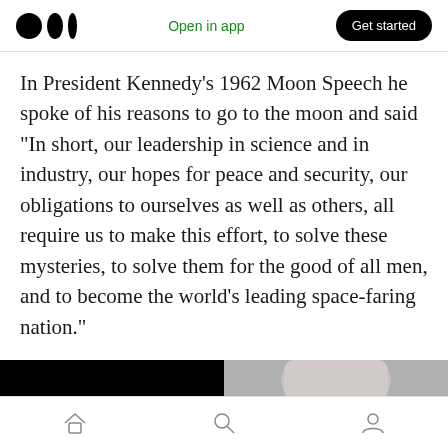Open in app | Get started
In President Kennedy's 1962 Moon Speech he spoke of his reasons to go to the moon and said “In short, our leadership in science and in industry, our hopes for peace and security, our obligations to ourselves as well as others, all require us to make this effort, to solve these mysteries, to solve them for the good of all men, and to become the world’s leading space-faring nation.”
[Figure (photo): Two side-by-side images: left is a black rectangle, right shows a person (likely Kennedy) photographed from behind/side with blurred background]
Home | Search | Profile navigation icons